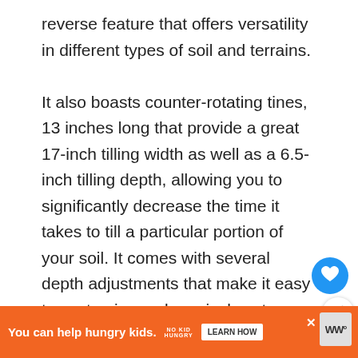reverse feature that offers versatility in different types of soil and terrains.

It also boasts counter-rotating tines, 13 inches long that provide a great 17-inch tilling width as well as a 6.5-inch tilling depth, allowing you to significantly decrease the time it takes to till a particular portion of your soil. It comes with several depth adjustments that make it easy to customize and precisely set your depth while digging. They also feature tires that are 16 inches in diameter that are perfect for traversing and maneuvering on different terrains. Also, providing excellent traction...
[Figure (screenshot): UI overlay with heart/like button (blue circle with heart icon) and share button with count '1']
[Figure (screenshot): What's Next promo box showing thumbnail image and text '5 best paring knife: review...' with orange arrow]
[Figure (screenshot): Orange advertisement banner at bottom: 'You can help hungry kids.' with No Kid Hungry logo and 'LEARN HOW' button. Close X button and WW logo visible on right.]